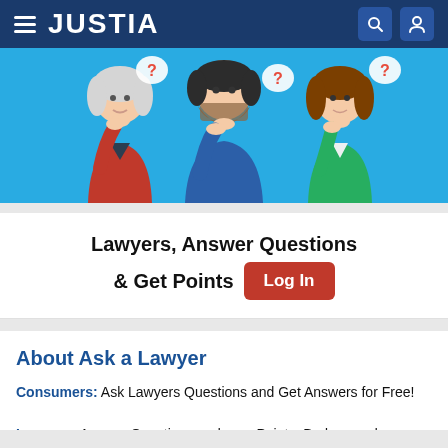JUSTIA
[Figure (illustration): Three people in thinking poses with question mark speech bubbles against a light blue background. Left person wears red jacket, middle person has beard and wears blue, right person wears green.]
Lawyers, Answer Questions & Get Points
About Ask a Lawyer
Consumers: Ask Lawyers Questions and Get Answers for Free!
Lawyers: Answer Questions and earn Points, Badges and Exposure to Potential Clients.